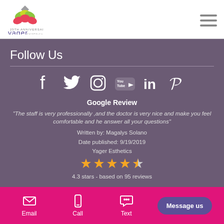Yager Esthetics logo and navigation
Follow Us
[Figure (infographic): Social media icons: Facebook, Twitter, Instagram, YouTube, LinkedIn, Pinterest]
Google Review
"The staff is very professionally ,and the doctor is very nice and make you feel comfortable and he answer all your questions"
Written by: Magalys Solano
Date published: 9/19/2019
Yager Esthetics
[Figure (infographic): 4.5 star rating shown with gold stars]
4.3 stars - based on 95 reviews
Email | Call | Text | Message us